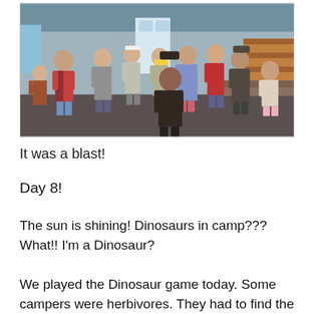[Figure (photo): Group of children and young people standing and socializing inside a camp building/hall. Several kids are visible, some wearing colorful clothes including a red plaid shirt, red sports shirt. The room has a dark floor and benches along the walls.]
It was a blast!
Day 8!
The sun is shining! Dinosaurs in camp??? What!! I'm a Dinosaur?
We played the Dinosaur game today. Some campers were herbivores. They had to find the